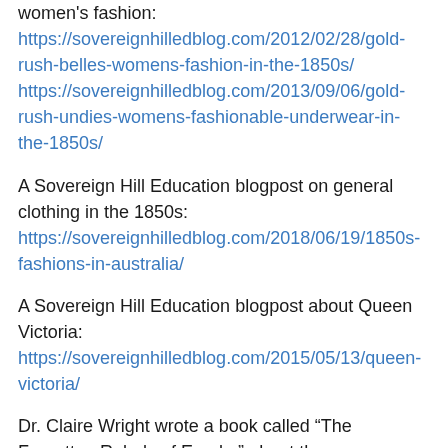women's fashion:
https://sovereignhilledblog.com/2012/02/28/gold-rush-belles-womens-fashion-in-the-1850s/
https://sovereignhilledblog.com/2013/09/06/gold-rush-undies-womens-fashionable-underwear-in-the-1850s/
A Sovereign Hill Education blogpost on general clothing in the 1850s:
https://sovereignhilledblog.com/2018/06/19/1850s-fashions-in-australia/
A Sovereign Hill Education blogpost about Queen Victoria:
https://sovereignhilledblog.com/2015/05/13/queen-victoria/
Dr. Claire Wright wrote a book called “The Forgotten Rebels of Eureka” about the women involved in the Eureka Rebellion:
https://www.textpublishing.com.au/books/the-forgotten-